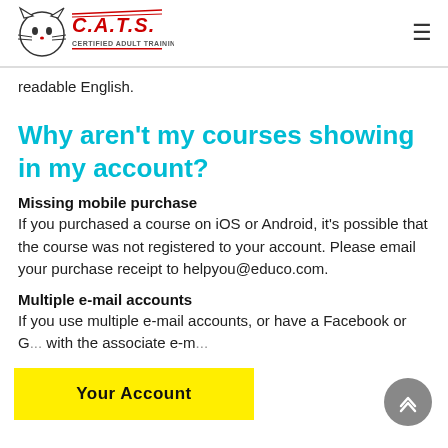C.A.T.S. Certified Adult Training Services
readable English.
Why aren't my courses showing in my account?
Missing mobile purchase
If you purchased a course on iOS or Android, it's possible that the course was not registered to your account. Please email your purchase receipt to helpyou@educo.com.
Multiple e-mail accounts
If you use multiple e-mail accounts, or have a Facebook or G... with the associate e-m... a...